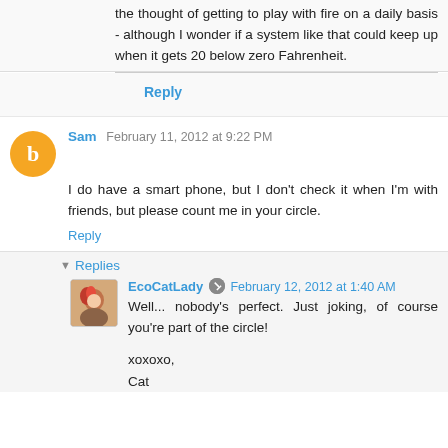the thought of getting to play with fire on a daily basis - although I wonder if a system like that could keep up when it gets 20 below zero Fahrenheit.
Reply
Sam  February 11, 2012 at 9:22 PM
I do have a smart phone, but I don't check it when I'm with friends, but please count me in your circle.
Reply
Replies
EcoCatLady  February 12, 2012 at 1:40 AM
Well... nobody's perfect. Just joking, of course you're part of the circle!

xoxoxo,
Cat